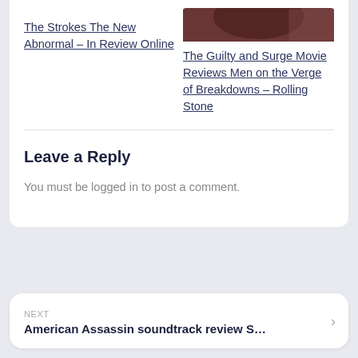The Strokes The New Abnormal – In Review Online
[Figure (photo): Partial photo of a person, dark reddish-brown tones, cropped at top of page]
The Guilty and Surge Movie Reviews Men on the Verge of Breakdowns – Rolling Stone
Leave a Reply
You must be logged in to post a comment.
NEXT
American Assassin soundtrack review S…